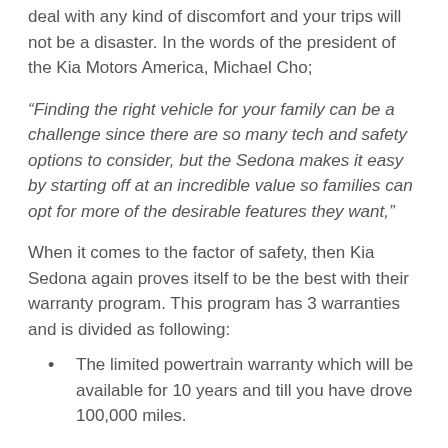deal with any kind of discomfort and your trips will not be a disaster. In the words of the president of the Kia Motors America, Michael Cho;
“Finding the right vehicle for your family can be a challenge since there are so many tech and safety options to consider, but the Sedona makes it easy by starting off at an incredible value so families can opt for more of the desirable features they want,”
When it comes to the factor of safety, then Kia Sedona again proves itself to be the best with their warranty program. This program has 3 warranties and is divided as following:
The limited powertrain warranty which will be available for 10 years and till you have drove 100,000 miles.